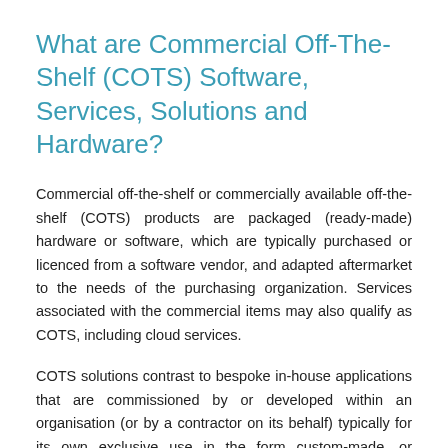What are Commercial Off-The-Shelf (COTS) Software, Services, Solutions and Hardware?
Commercial off-the-shelf or commercially available off-the-shelf (COTS) products are packaged (ready-made) hardware or software, which are typically purchased or licenced from a software vendor, and adapted aftermarket to the needs of the purchasing organization. Services associated with the commercial items may also qualify as COTS, including cloud services.
COTS solutions contrast to bespoke in-house applications that are commissioned by or developed within an organisation (or by a contractor on its behalf) typically for its own exclusive use in the form custom-made, or bespoke, solutions.